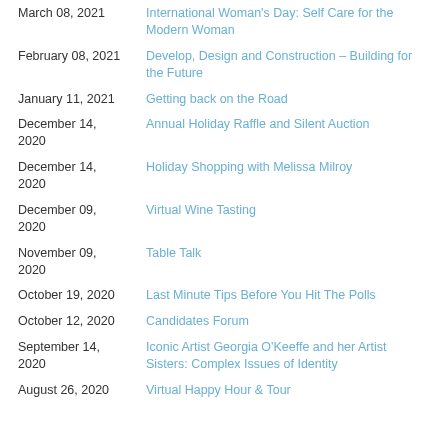March 08, 2021 | International Woman's Day: Self Care for the Modern Woman
February 08, 2021 | Develop, Design and Construction – Building for the Future
January 11, 2021 | Getting back on the Road
December 14, 2020 | Annual Holiday Raffle and Silent Auction
December 14, 2020 | Holiday Shopping with Melissa Milroy
December 09, 2020 | Virtual Wine Tasting
November 09, 2020 | Table Talk
October 19, 2020 | Last Minute Tips Before You Hit The Polls
October 12, 2020 | Candidates Forum
September 14, 2020 | Iconic Artist Georgia O'Keeffe and her Artist Sisters: Complex Issues of Identity
August 26, 2020 | Virtual Happy Hour & Tour